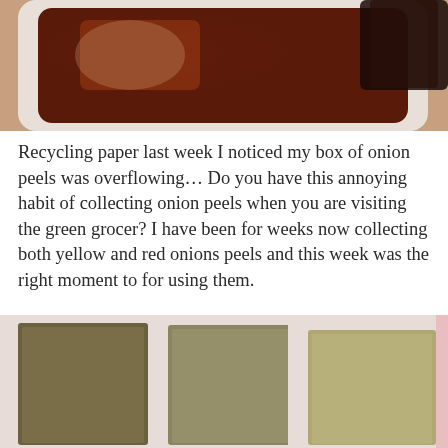[Figure (photo): Close-up photo of a white plastic container filled with dark reddish-brown liquid (onion peel dye), with a dark bottle visible in the upper right corner.]
Recycling paper last week I noticed my box of onion peels was overflowing… Do you have this annoying habit of collecting onion peels when you are visiting the green grocer? I have been for weeks now collecting both yellow and red onions peels and this week was the right moment to for using them.
[Figure (photo): Photo of three rectangular pieces of fabric or paper laid out side by side on a white surface, dyed in different shades of olive/khaki/tan from onion peel dye.]